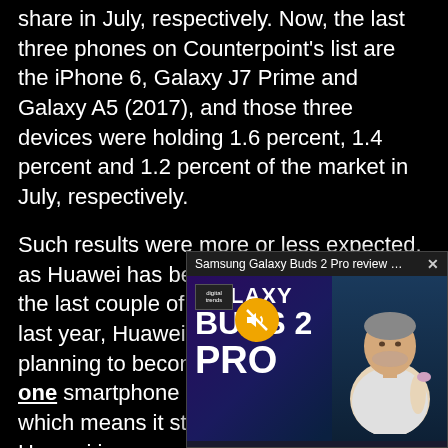share in July, respectively. Now, the last three phones on Counterpoint's list are the iPhone 6, Galaxy J7 Prime and Galaxy A5 (2017), and those three devices were holding 1.6 percent, 1.4 percent and 1.2 percent of the market in July, respectively.
Such results were more or less expected, as Huawei has been growing quite a bit in the last couple of years. Back in February last year, Huawei actually said that it is planning to become the world's number one smartphone manufacturer by 2021, which means it still has a co... Samsung. Huawei is manufacturer in Chin... smartphone market, had managed to esca... Xiaomi quite a bit, as market is concerned.
[Figure (screenshot): Video popup overlay for 'Samsung Galaxy Buds 2 Pro review | Gr...' with a close button (×). The thumbnail shows the text GALAXY BUDS 2 PRO in large white letters on a purple background, a Digital Trends logo, a yellow mute button icon, and a presenter/reviewer on the right side.]